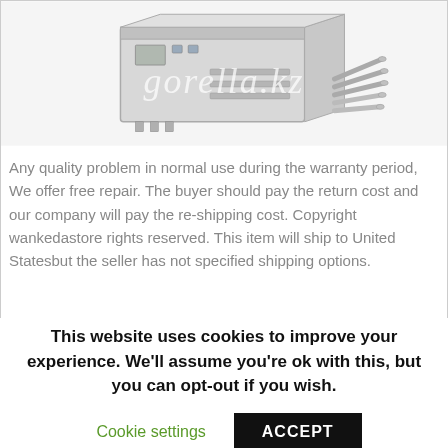[Figure (illustration): A product image of an industrial or electronic device (appears to be a server/router unit) shown at an angle with some accessory components (cylindrical parts/cables) beside it. A watermark reading 'gorella.kz' overlays the image in white italic text.]
Any quality problem in normal use during the warranty period, We offer free repair. The buyer should pay the return cost and our company will pay the re-shipping cost. Copyright wankedastore rights reserved. This item will ship to United Statesbut the seller has not specified shipping options.
This website uses cookies to improve your experience. We'll assume you're ok with this, but you can opt-out if you wish.
Cookie settings
ACCEPT